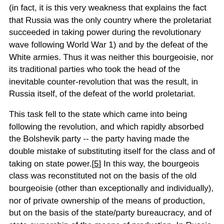(in fact, it is this very weakness that explains the fact that Russia was the only country where the proletariat succeeded in taking power during the revolutionary wave following World War 1) and by the defeat of the White armies. Thus it was neither this bourgeoisie, nor its traditional parties who took the head of the inevitable counter-revolution that was the result, in Russia itself, of the defeat of the world proletariat.
This task fell to the state which came into being following the revolution, and which rapidly absorbed the Bolshevik party -- the party having made the double mistake of substituting itself for the class and of taking on state power.[5] In this way, the bourgeois class was reconstituted not on the basis of the old bourgeoisie (other than exceptionally and individually), nor of private ownership of the means of production, but on the basis of the state/party bureaucracy, and of state ownership of the means of production. In Russia, an accumulation of factors -- the backwardness of the country, the rout of the classic bourgeoisie and the physical defeat of the working class (the terror and counter-revolution that it underwent were on the same scale as its revolutionary advance) -- thus drove the overall tendency towards state capitalism to take on its most extreme forms: near-total statification of the